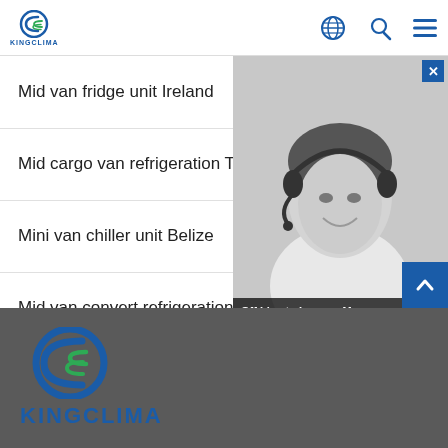[Figure (logo): KingClima logo in header with blue C and wave mark, text KINGCLIMA below]
Mid van fridge unit Ireland
Mid cargo van refrigeration Tajikistan
Mini van chiller unit Belize
Mid van convert refrigeration unit Philippines
Mini cargo van freezer units Uruguay
[Figure (photo): Black and white photo of a woman with a headset microphone smiling, with chat widget overlay showing Off Line to Leave a Message text and action buttons]
[Figure (logo): Large KingClima logo in footer on dark grey background, blue and green C wave mark and blue KINGCLIMA text]